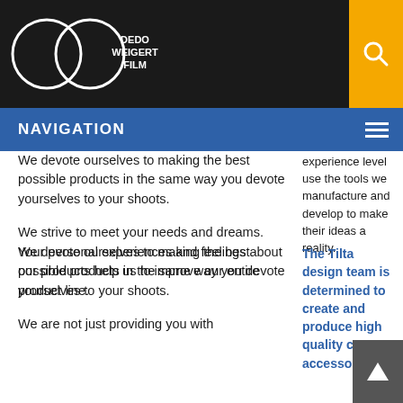[Figure (logo): Dedo Weigert Film logo with two overlapping circles and text]
NAVIGATION
experience level use the tools we manufacture and develop to make their ideas a reality.
The Tilta design team is determined to create and produce high quality camera accessories.
We devote ourselves to making the best possible products in the same way you devote yourselves to your shoots.
We strive to meet your needs and dreams. Your personal experiences and feelings about our products help us to improve our entire product line.
We are not just providing you with